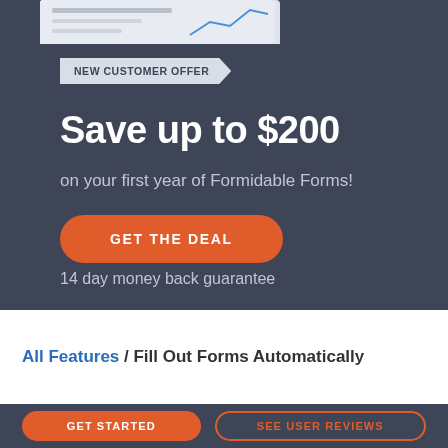[Figure (screenshot): Partial screenshot of Formidable Forms interface shown at top of dark banner]
NEW CUSTOMER OFFER
Save up to $200
on your first year of Formidable Forms!
GET THE DEAL
14 day money back guarantee
All Features / Fill Out Forms Automatically
GET STARTED
SEE USER REVIEWS